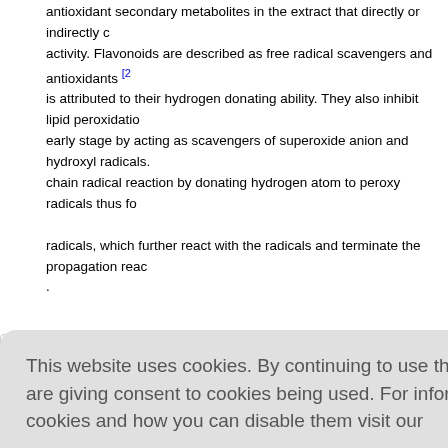antioxidant secondary metabolites in the extract that directly or indirectly contribute to the activity. Flavonoids are described as free radical scavengers and antioxidants [2] is attributed to their hydrogen donating ability. They also inhibit lipid peroxidation at an early stage by acting as scavengers of superoxide anion and hydroxyl radicals. They inhibit chain radical reaction by donating hydrogen atom to peroxy radicals thus forming aryloxy radicals, which further react with the radicals and terminate the propagation reaction .
Conclusion
a Cav. are ... ant activity ... sidered as a
[Figure (screenshot): Cookie consent overlay dialog with text: 'This website uses cookies. By continuing to use this website you are giving consent to cookies being used. For information on cookies and how you can disable them visit our Privacy and Cookie Policy.' and a red 'AGREE & PROCEED' button.]
pt, for supp...